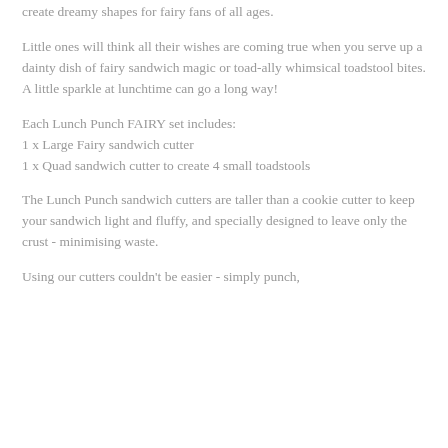create dreamy shapes for fairy fans of all ages.
Little ones will think all their wishes are coming true when you serve up a dainty dish of fairy sandwich magic or toad-ally whimsical toadstool bites. A little sparkle at lunchtime can go a long way!
Each Lunch Punch FAIRY set includes:
1 x Large Fairy sandwich cutter
1 x Quad sandwich cutter to create 4 small toadstools
The Lunch Punch sandwich cutters are taller than a cookie cutter to keep your sandwich light and fluffy, and specially designed to leave only the crust - minimising waste.
Using our cutters couldn't be easier - simply punch,